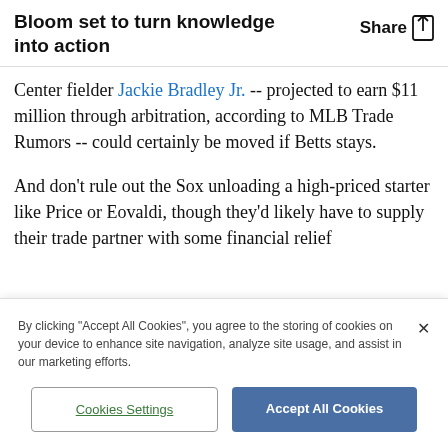Bloom set to turn knowledge into action
Center fielder Jackie Bradley Jr. -- projected to earn $11 million through arbitration, according to MLB Trade Rumors -- could certainly be moved if Betts stays.
And don't rule out the Sox unloading a high-priced starter like Price or Eovaldi, though they'd likely have to supply their trade partner with some financial relief
By clicking "Accept All Cookies", you agree to the storing of cookies on your device to enhance site navigation, analyze site usage, and assist in our marketing efforts.
Cookies Settings
Accept All Cookies